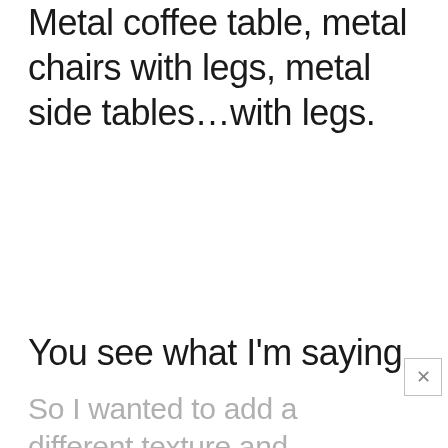Metal coffee table, metal chairs with legs, metal side tables…with legs.
You see what I'm saying.
So I wanted to add a different texture and warm it up a bit. My DIY wood tra…